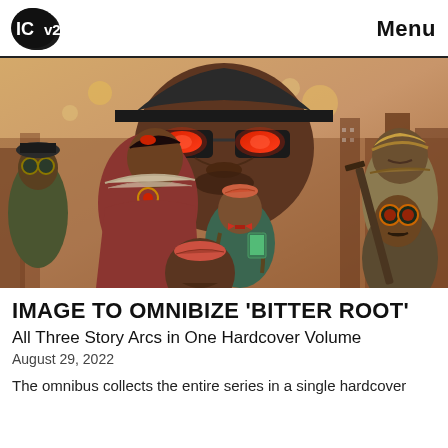ICv2 | Menu
[Figure (illustration): Comic book cover art for 'Bitter Root' showing multiple characters in a stylized illustration with warm tones — a tall man with glowing red eyes wearing sunglasses, a woman in a red dress with fur collar, various other characters including men with weapons and goggles, set against a city backdrop]
IMAGE TO OMNIBIZE 'BITTER ROOT'
All Three Story Arcs in One Hardcover Volume
August 29, 2022
The omnibus collects the entire series in a single hardcover